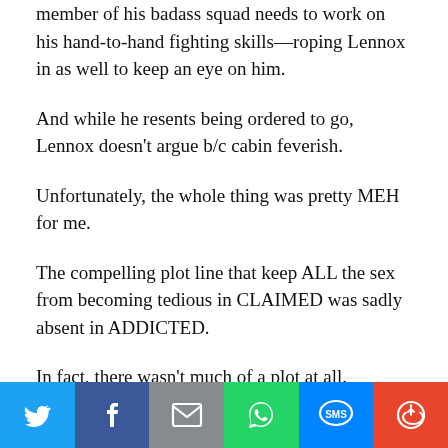member of his badass squad needs to work on his hand-to-hand fighting skills—roping Lennox in as well to keep an eye on him.
And while he resents being ordered to go, Lennox doesn't argue b/c cabin feverish.
Unfortunately, the whole thing was pretty MEH for me.
The compelling plot line that keep ALL the sex from becoming tedious in CLAIMED was sadly absent in ADDICTED.
In fact, there wasn't much of a plot at all.
It was mostly, “Lennox does really stupid shit after ten drinks,” Lennox having nine drinks, and oh, hey, now’s a good time to act on the blistering attraction I’ve stifled for, oh, twenty years, b/c drunk.
[Figure (other): Social share bar with Twitter, Facebook, Email, WhatsApp, SMS, and More buttons]